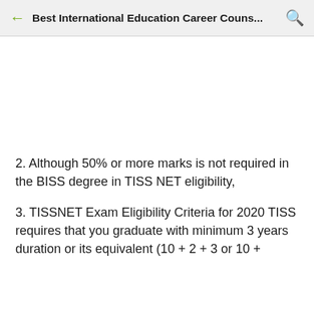Best International Education Career Couns...
2. Although 50% or more marks is not required in the BISS degree in TISS NET eligibility,
3. TISSNET Exam Eligibility Criteria for 2020 TISS requires that you graduate with minimum 3 years duration or its equivalent (10 + 2 + 3 or 10 +